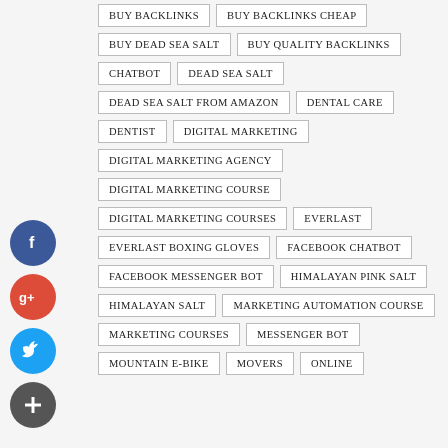BUY BACKLINKS
BUY BACKLINKS CHEAP
BUY DEAD SEA SALT
BUY QUALITY BACKLINKS
CHATBOT
DEAD SEA SALT
DEAD SEA SALT FROM AMAZON
DENTAL CARE
DENTIST
DIGITAL MARKETING
DIGITAL MARKETING AGENCY
DIGITAL MARKETING COURSE
DIGITAL MARKETING COURSES
EVERLAST
EVERLAST BOXING GLOVES
FACEBOOK CHATBOT
FACEBOOK MESSENGER BOT
HIMALAYAN PINK SALT
HIMALAYAN SALT
MARKETING AUTOMATION COURSE
MARKETING COURSES
MESSENGER BOT
MOUNTAIN E-BIKE
MOVERS
ONLINE
[Figure (infographic): Social sharing buttons: Facebook (blue), Google+ (red), Twitter (light blue), Plus/Add (grey)]